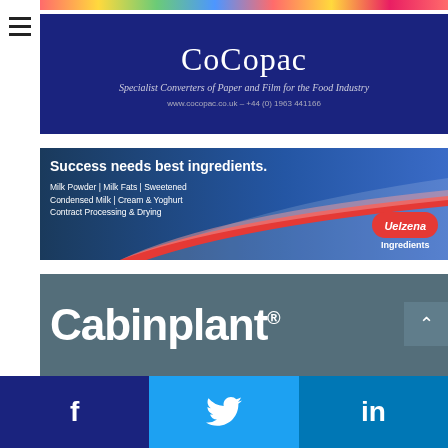[Figure (illustration): Colorful candy strip at the top of the page]
[Figure (logo): CoCopac advertisement: dark navy blue background with white serif text reading 'CoCopac', subtitle 'Specialist Converters of Paper and Film for the Food Industry', and URL 'www.cocopac.co.uk - +44 (0) 1963 441166']
[Figure (illustration): Uelzena Ingredients advertisement with blue gradient background, red swoosh wave graphic, text 'Success needs best ingredients.', product list 'Milk Powder | Milk Fats | Sweetened Condensed Milk | Cream & Yoghurt Contract Processing & Drying', and Uelzena logo badge in red oval]
[Figure (logo): Cabinplant advertisement: slate blue/grey background with large white bold text 'Cabinplant' with registered trademark symbol]
[Figure (illustration): Social media share bar with Facebook (dark blue, f icon), Twitter (light blue, bird icon), and LinkedIn (blue, in icon) buttons]